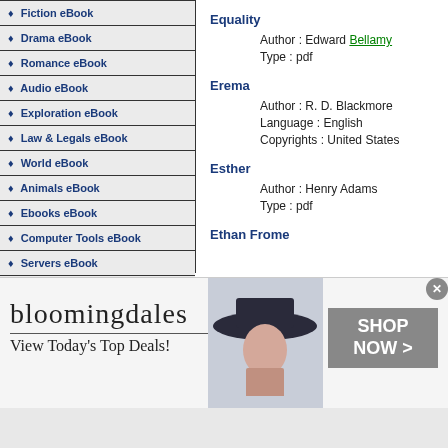Fiction eBook
Drama eBook
Romance eBook
Audio eBook
Exploration eBook
Law & Legals eBook
World eBook
Animals eBook
Ebooks eBook
Computer Tools eBook
Servers eBook
Applications eBook
Microsoft Office eBook
Equality
Author : Edward Bellamy
Type : pdf
Erema
Author : R. D. Blackmore
Language : English
Copyrights : United States
Esther
Author : Henry Adams
Type : pdf
Ethan Frome
[Figure (screenshot): Bloomingdale's advertisement banner: 'View Today's Top Deals!' with SHOP NOW button and woman in hat photo]